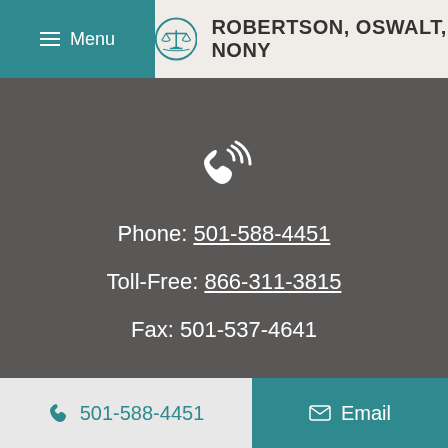Menu | ROBERTSON, OSWALT, NONY
[Figure (illustration): Phone with signal waves icon (calling icon) in white on dark grey background]
Phone: 501-588-4451
Toll-Free: 866-311-3815
Fax: 501-537-4641
501-588-4451   Email